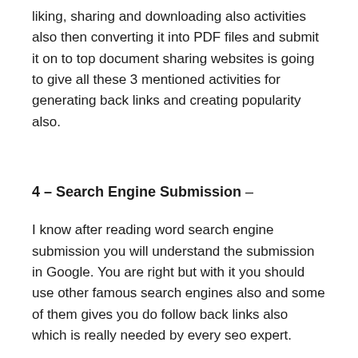liking, sharing and downloading also activities also then converting it into PDF files and submit it on to top document sharing websites is going to give all these 3 mentioned activities for generating back links and creating popularity also.
4 – Search Engine Submission –
I know after reading word search engine submission you will understand the submission in Google. You are right but with it you should use other famous search engines also and some of them gives you do follow back links also which is really needed by every seo expert.